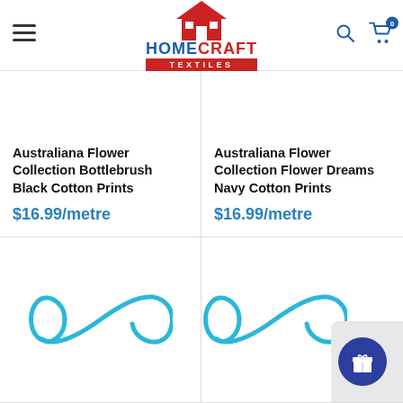Homecraft Textiles — navigation header with logo, hamburger menu, search and cart icons
Australiana Flower Collection Bottlebrush Black Cotton Prints
$16.99/metre
Australiana Flower Collection Flower Dreams Navy Cotton Prints
$16.99/metre
[Figure (illustration): Loading spinner / infinity symbol in cyan blue]
[Figure (illustration): Loading spinner / infinity symbol in cyan blue]